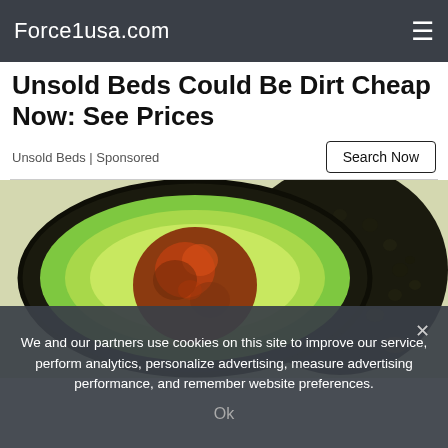Force1usa.com
Unsold Beds Could Be Dirt Cheap Now: See Prices
Unsold Beds | Sponsored
[Figure (photo): A sliced avocado showing the brown seed/pit and bright green flesh, with the dark bumpy-skinned whole avocado half beside it, on a light background.]
We and our partners use cookies on this site to improve our service, perform analytics, personalize advertising, measure advertising performance, and remember website preferences.